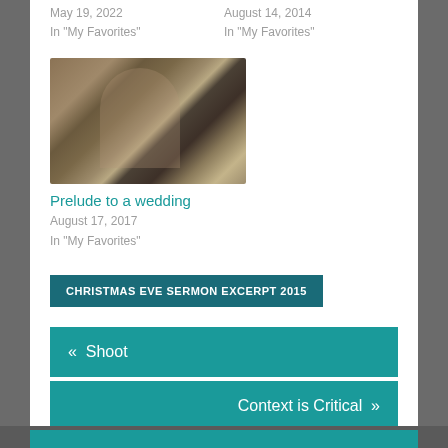May 19, 2022
In "My Favorites"
August 14, 2014
In "My Favorites"
[Figure (photo): A young woman sitting outdoors with a large dog, in a wooded/natural setting]
Prelude to a wedding
August 17, 2017
In "My Favorites"
CHRISTMAS EVE SERMON EXCERPT 2015
«  Shoot
Context is Critical  »